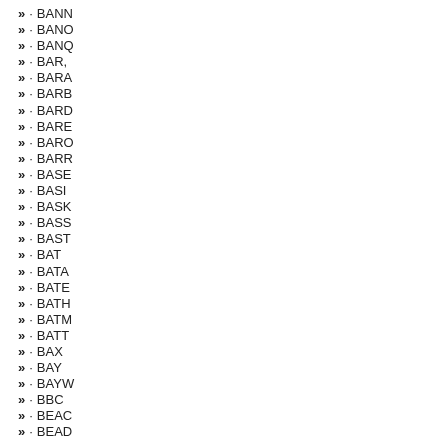» · BANN
» · BANO
» · BANQ
» · BAR,
» · BARA
» · BARB
» · BARD
» · BARE
» · BARO
» · BARR
» · BASE
» · BASI
» · BASK
» · BASS
» · BAST
» · BAT
» · BATA
» · BATE
» · BATH
» · BATM
» · BATT
» · BAX
» · BAY
» · BAYW
» · BBC
» · BEAC
» · BEAD